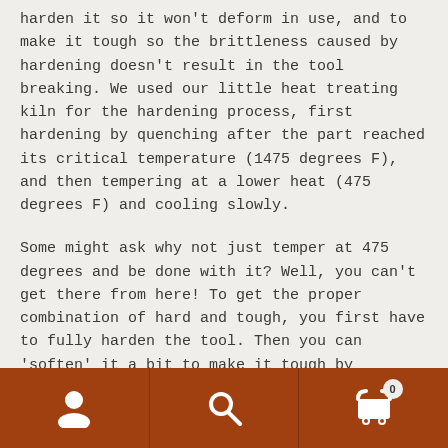harden it so it won't deform in use, and to make it tough so the brittleness caused by hardening doesn't result in the tool breaking. We used our little heat treating kiln for the hardening process, first hardening by quenching after the part reached its critical temperature (1475 degrees F), and then tempering at a lower heat (475 degrees F) and cooling slowly.
Some might ask why not just temper at 475 degrees and be done with it? Well, you can't get there from here! To get the proper combination of hard and tough, you first have to fully harden the tool. Then you can 'soften' it a bit to make it tough by tempering at the lower temperature.
[Figure (other): Navigation footer bar with three icons: user/profile icon on left, search/magnifying glass icon in center, shopping cart icon with badge showing 0 on right. Brown/rust colored background.]